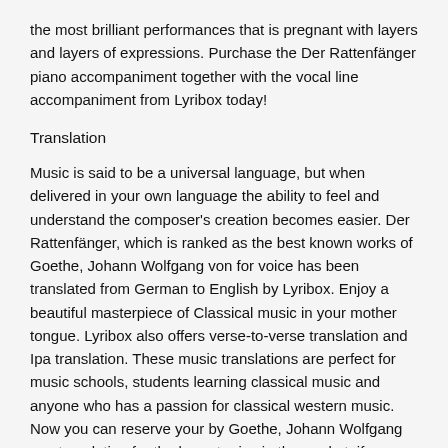the most brilliant performances that is pregnant with layers and layers of expressions. Purchase the Der Rattenfänger piano accompaniment together with the vocal line accompaniment from Lyribox today!
Translation
Music is said to be a universal language, but when delivered in your own language the ability to feel and understand the composer's creation becomes easier. Der Rattenfänger, which is ranked as the best known works of Goethe, Johann Wolfgang von for voice has been translated from German to English by Lyribox. Enjoy a beautiful masterpiece of Classical music in your mother tongue. Lyribox also offers verse-to-verse translation and Ipa translation. These music translations are perfect for music schools, students learning classical music and anyone who has a passion for classical western music. Now you can reserve your by Goethe, Johann Wolfgang von translation for the lowest price in the market, if your purchase it from this premium platform. Besides Lyribox has also provided you with two French audio text files of Der Rattenfänger. One with a normal tempo and the other with a bit slowed version. Based